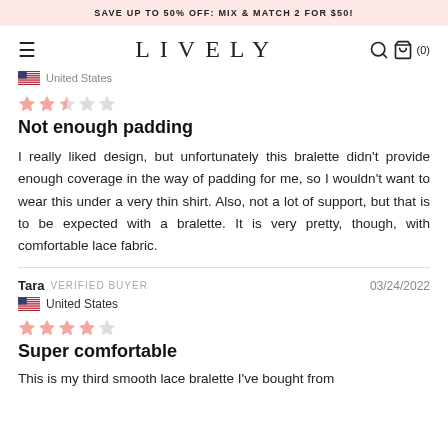SAVE UP TO 50% OFF: MIX & MATCH 2 FOR $50!
LIVELY
United States
Not enough padding
I really liked design, but unfortunately this bralette didn't provide enough coverage in the way of padding for me, so I wouldn't want to wear this under a very thin shirt. Also, not a lot of support, but that is to be expected with a bralette. It is very pretty, though, with comfortable lace fabric.
Tara VERIFIED BUYER 03/24/2022
United States
Super comfortable
This is my third smooth lace bralette I've bought from